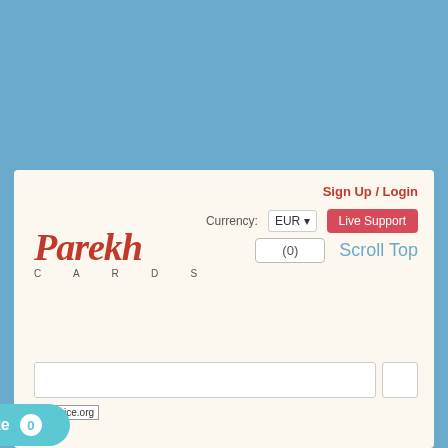[Figure (screenshot): Website screenshot of Parekh Cards showing Sign Up/Login link, Currency EUR dropdown, Live Support button, Parekh Cards logo, cart with (0), Scroll Top link, search bar, siteprice.org badge, and a Like 0 button]
Sign Up / Login
Currency: EUR
Live Support
Parekh CARDS
(0)
Scroll Top
$iteprice.org
Like 0